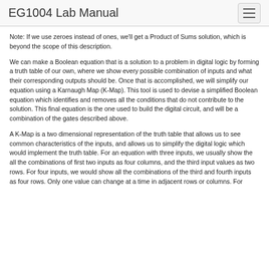EG1004 Lab Manual
Note: If we use zeroes instead of ones, we'll get a Product of Sums solution, which is beyond the scope of this description.
We can make a Boolean equation that is a solution to a problem in digital logic by forming a truth table of our own, where we show every possible combination of inputs and what their corresponding outputs should be. Once that is accomplished, we will simplify our equation using a Karnaugh Map (K-Map). This tool is used to devise a simplified Boolean equation which identifies and removes all the conditions that do not contribute to the solution. This final equation is the one used to build the digital circuit, and will be a combination of the gates described above.
A K-Map is a two dimensional representation of the truth table that allows us to see common characteristics of the inputs, and allows us to simplify the digital logic which would implement the truth table. For an equation with three inputs, we usually show the all the combinations of first two inputs as four columns, and the third input values as two rows. For four inputs, we would show all the combinations of the third and fourth inputs as four rows. Only one value can change at a time in adjacent rows or columns. For